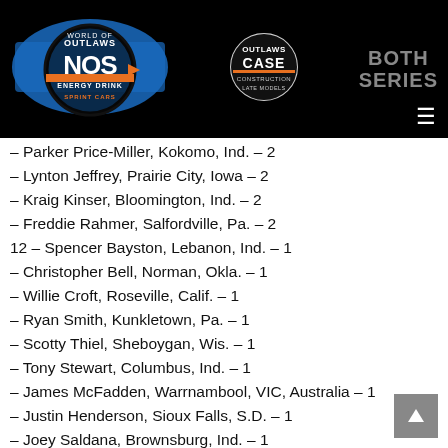[Figure (logo): World of Outlaws NOS Energy Drink Sprint Cars logo]
[Figure (logo): World of Outlaws CASE Construction Late Models logo]
[Figure (logo): BOTH SERIES text logo]
– Parker Price-Miller, Kokomo, Ind. – 2
– Lynton Jeffrey, Prairie City, Iowa – 2
– Kraig Kinser, Bloomington, Ind. – 2
– Freddie Rahmer, Salfordville, Pa. – 2
12 – Spencer Bayston, Lebanon, Ind. – 1
– Christopher Bell, Norman, Okla. – 1
– Willie Croft, Roseville, Calif. – 1
– Ryan Smith, Kunkletown, Pa. – 1
– Scotty Thiel, Sheboygan, Wis. – 1
– Tony Stewart, Columbus, Ind. – 1
– James McFadden, Warrnambool, VIC, Australia – 1
– Justin Henderson, Sioux Falls, S.D. – 1
– Joey Saldana, Brownsburg, Ind. – 1
– Jac Haudenschild, Wooster, Ohio – 1